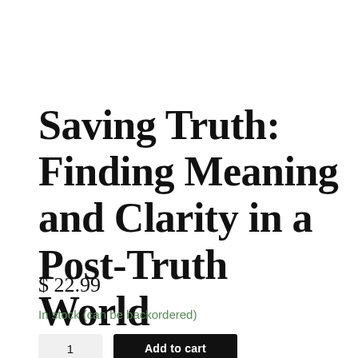Saving Truth: Finding Meaning and Clarity in a Post-Truth World
$ 22.99
In stock (can be backordered)
[Figure (other): Quantity selector box and Add to cart button at bottom of product page]